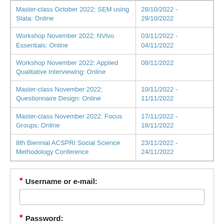| Event | Date |
| --- | --- |
| Master-class October 2022: SEM using Stata: Online | 28/10/2022 - 29/10/2022 |
| Workshop November 2022: NVivo Essentials: Online | 03/11/2022 - 04/11/2022 |
| Workshop November 2022: Applied Qualitative Interviewing: Online | 08/11/2022 |
| Master-class November 2022: Questionnaire Design: Online | 10/11/2022 - 11/11/2022 |
| Master-class November 2022: Focus Groups: Online | 17/11/2022 - 18/11/2022 |
| 8th Biennial ACSPRI Social Science Methodology Conference | 23/11/2022 - 24/11/2022 |
* Username or e-mail:
* Password:
Log in